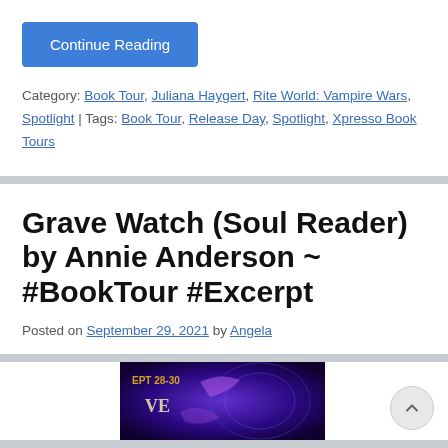Continue Reading
Category: Book Tour, Juliana Haygert, Rite World: Vampire Wars, Spotlight | Tags: Book Tour, Release Day, Spotlight, Xpresso Book Tours
Grave Watch (Soul Reader) by Annie Anderson ~ #BookTour #Excerpt
Posted on September 29, 2021 by Angela
[Figure (photo): Book tour promotional banner for Grave Watch showing purple/blue fantasy artwork with text SEPT 28-30]